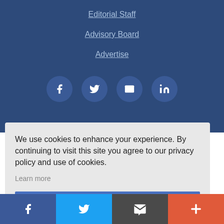Editorial Staff
Advisory Board
Advertise
[Figure (infographic): Row of four circular social media icon buttons: Facebook, Twitter, Email, LinkedIn on dark blue background]
We use cookies to enhance your experience. By continuing to visit this site you agree to our privacy policy and use of cookies.
Learn more
OK
[Figure (infographic): Bottom navigation bar with four sections: Facebook (dark blue), Twitter (light blue), Email/share (dark gray), More/plus (orange-red)]